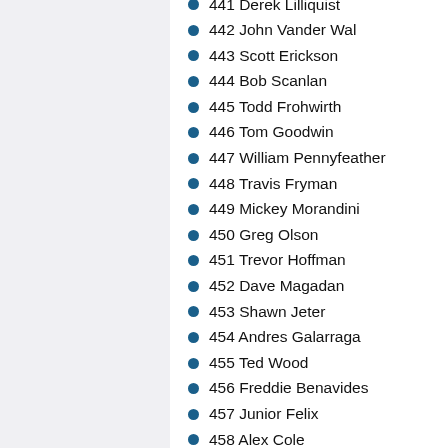441 Derek Lilliquist
442 John Vander Wal
443 Scott Erickson
444 Bob Scanlan
445 Todd Frohwirth
446 Tom Goodwin
447 William Pennyfeather
448 Travis Fryman
449 Mickey Morandini
450 Greg Olson
451 Trevor Hoffman
452 Dave Magadan
453 Shawn Jeter
454 Andres Galarraga
455 Ted Wood
456 Freddie Benavides
457 Junior Felix
458 Alex Cole
459 John Orton